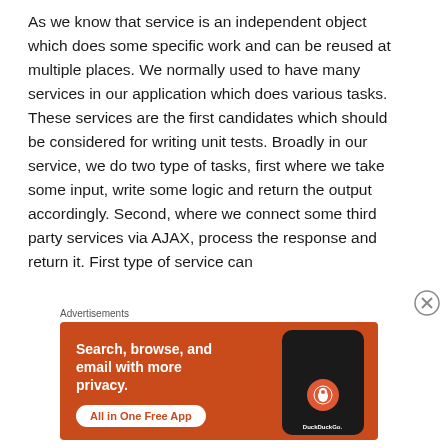As we know that service is an independent object which does some specific work and can be reused at multiple places. We normally used to have many services in our application which does various tasks. These services are the first candidates which should be considered for writing unit tests. Broadly in our service, we do two type of tasks, first where we take some input, write some logic and return the output accordingly. Second, where we connect some third party services via AJAX, process the response and return it. First type of service can
Advertisements
[Figure (other): DuckDuckGo advertisement banner with orange background. Text reads: 'Search, browse, and email with more privacy. All in One Free App'. Shows a smartphone with the DuckDuckGo logo.]